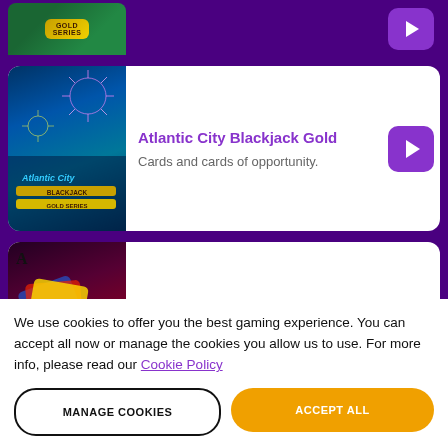[Figure (screenshot): Partial game card at top showing Gold Series logo on green background, cut off]
[Figure (screenshot): Atlantic City Blackjack Gold game card with night city/fireworks background image]
Atlantic City Blackjack Gold
Cards and cards of opportunity.
[Figure (screenshot): Spanish Blackjack Gold Series game card with red/dark dramatic background]
Spanish Blackjack Gold Series
Play for a shot at 21.
About Online Blackjack
We use cookies to offer you the best gaming experience. You can accept all now or manage the cookies you allow us to use. For more info, please read our Cookie Policy
MANAGE COOKIES
ACCEPT ALL